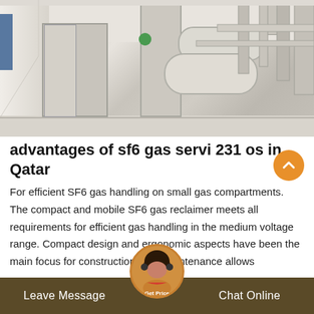[Figure (photo): Industrial SF6 gas handling equipment in a facility — white/grey electrical panels, cylindrical pressure vessels/tanks, and piping visible in an indoor setting with white walls and tiled floor.]
advantages of sf6 gas servi 231 os in Qatar
For efficient SF6 gas handling on small gas compartments. The compact and mobile SF6 gas reclaimer meets all requirements for efficient gas handling in the medium voltage range. Compact design and ergonomic aspects have been the main focus for construction. The maintenance allows
Leave Message   Get Price   Chat Online